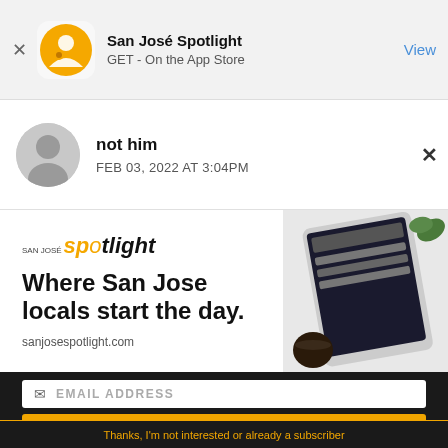[Figure (screenshot): App Store smart banner for San José Spotlight app with orange circle logo, app name, GET - On the App Store text, and View link]
not him
FEB 03, 2022 AT 3:04PM
[Figure (infographic): San José Spotlight advertisement banner with logo, headline 'Where San Jose locals start the day.', sanjosespotlight.com URL, and device photo on right]
EMAIL ADDRESS
SUBSCRIBE
Thanks, I'm not interested or already a subscriber